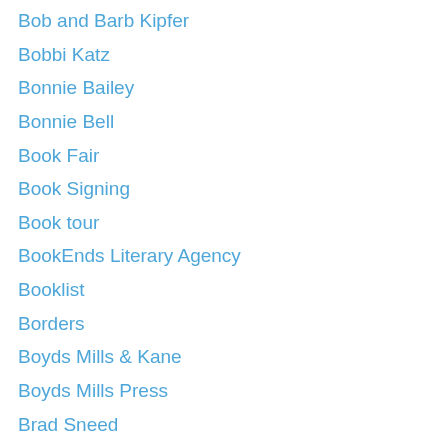Bob and Barb Kipfer
Bobbi Katz
Bonnie Bailey
Bonnie Bell
Book Fair
Book Signing
Book tour
BookEnds Literary Agency
Booklist
Borders
Boyds Mills & Kane
Boyds Mills Press
Brad Sneed
Bran Sneed
Brenda A. Harris
Brenda Seabrooke
Brian Shipman
Bruce Black
Bryn Strudwick
BUGS